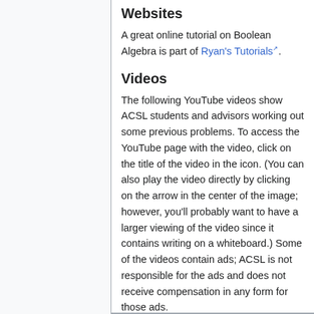Websites
A great online tutorial on Boolean Algebra is part of Ryan's Tutorials.
Videos
The following YouTube videos show ACSL students and advisors working out some previous problems. To access the YouTube page with the video, click on the title of the video in the icon. (You can also play the video directly by clicking on the arrow in the center of the image; however, you'll probably want to have a larger viewing of the video since it contains writing on a whiteboard.) Some of the videos contain ads; ACSL is not responsible for the ads and does not receive compensation in any form for those ads.